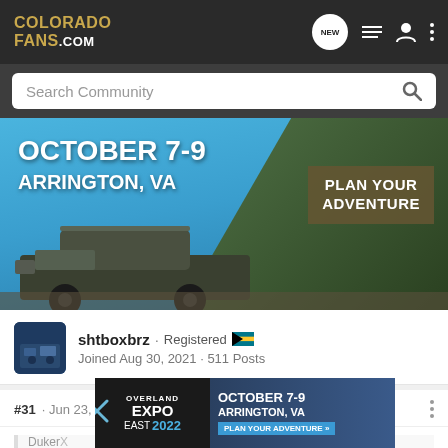COLORADO FANS.COM
Search Community
[Figure (photo): Advertisement banner: October 7-9 Arrington, VA — Plan Your Adventure. Shows off-road truck in forest.]
shtboxbrz · Registered 🇧🇸
Joined Aug 30, 2021 · 511 Posts
#31 · Jun 23, 2022
[Figure (screenshot): Overland Expo East 2022 advertisement banner — October 7-9 Arrington, VA, Plan Your Adventure]
DukerX
Yes, I ... rbox. It